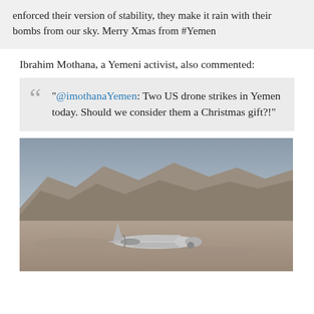enforced their version of stability, they make it rain with their bombs from our sky. Merry Xmas from #Yemen
Ibrahim Mothana, a Yemeni activist, also commented:
"@imothanaYemen: Two US drone strikes in Yemen today. Should we consider them a Christmas gift?!"
[Figure (photo): A military drone (likely a Predator or Reaper UAV) on the ground or in flight, with arid desert mountains in the background under a grey-blue sky.]